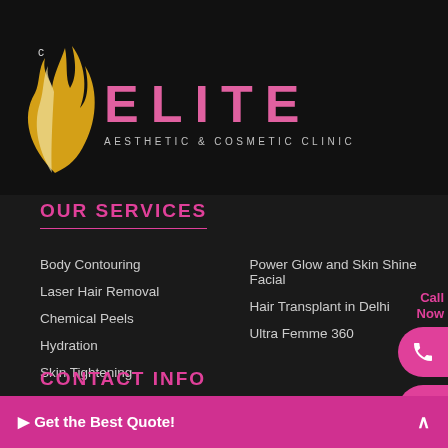[Figure (logo): Elite Aesthetic & Cosmetic Clinic logo — stylized flame/hair icon in gold and white on black background, with 'ELITE' in large pink letters and 'AESTHETIC & COSMETIC CLINIC' in smaller spaced letters]
OUR SERVICES
Body Contouring
Laser Hair Removal
Chemical Peels
Hydration
Skin Tightening
Power Glow and Skin Shine Facial
Hair Transplant in Delhi
Ultra Femme 360
CONTACT INFO
Address: K-1991, Lower Ground Floor, Chitranjan Park, Opposite South Indian bank, Near Greater Kailash 2, Metro Station, New Delhi
Phone: +91-11 40...
▶ Get the Best Quote!